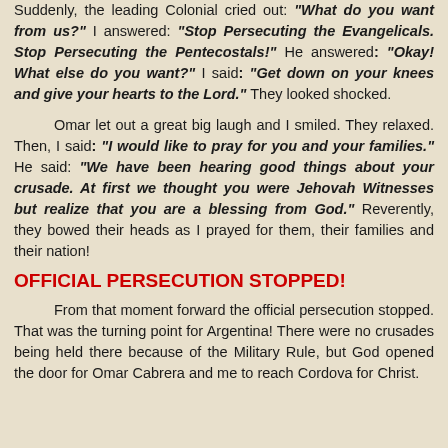Suddenly, the leading Colonial cried out: "What do you want from us?" I answered: "Stop Persecuting the Evangelicals. Stop Persecuting the Pentecostals!" He answered: "Okay! What else do you want?" I said: "Get down on your knees and give your hearts to the Lord." They looked shocked.
Omar let out a great big laugh and I smiled. They relaxed. Then, I said: "I would like to pray for you and your families." He said: "We have been hearing good things about your crusade. At first we thought you were Jehovah Witnesses but realize that you are a blessing from God." Reverently, they bowed their heads as I prayed for them, their families and their nation!
OFFICIAL PERSECUTION STOPPED!
From that moment forward the official persecution stopped. That was the turning point for Argentina! There were no crusades being held there because of the Military Rule, but God opened the door for Omar Cabrera and me to reach Cordova for Christ.